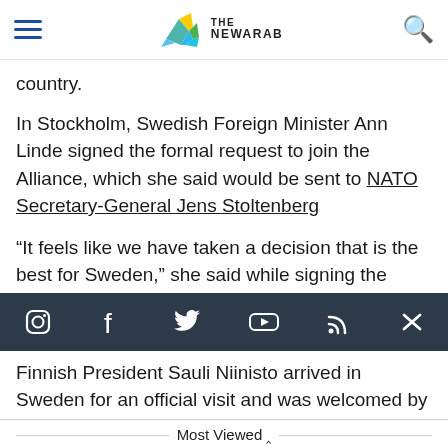The New Arab
country.
In Stockholm, Swedish Foreign Minister Ann Linde signed the formal request to join the Alliance, which she said would be sent to NATO Secretary-General Jens Stoltenberg
“It feels like we have taken a decision that is the best for Sweden,” she said while signing the
[Figure (infographic): Social media icon bar with icons for Instagram, Facebook, Twitter, YouTube, RSS, and X (close) on dark navy background]
Finnish President Sauli Niinisto arrived in Sweden for an official visit and was welcomed by Sweden’s King Carl XVI Gustaf and Queen Silvia, who had invited him. Niinisto is scheduled to address
Most Viewed ⌃